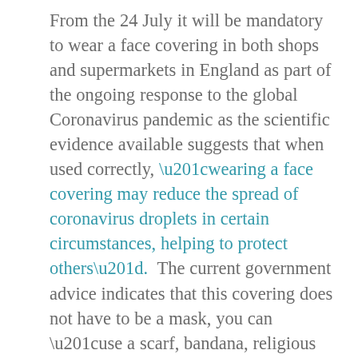From the 24 July it will be mandatory to wear a face covering in both shops and supermarkets in England as part of the ongoing response to the global Coronavirus pandemic as the scientific evidence available suggests that when used correctly, “wearing a face covering may reduce the spread of coronavirus droplets in certain circumstances, helping to protect others”.  The current government advice indicates that this covering does not have to be a mask, you can “use a scarf, bandana, religious garment or hand-made cloth covering”, just as long as it will securely fit around the side of the face.  The government intends to regulate the wearing of face coverings through granting the police the power to fine individuals £100 if they refuse to comply, which has added to an already contentious debate about why face coverings